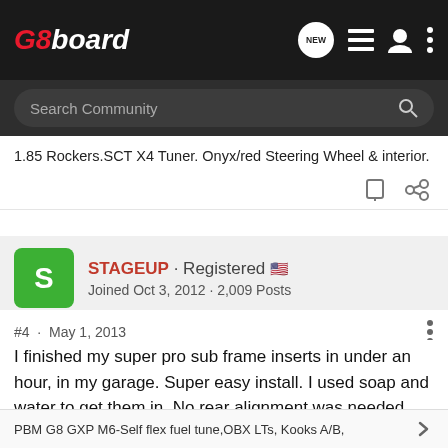G8board
Search Community
1.85 Rockers.SCT X4 Tuner. Onyx/red Steering Wheel & interior.
STAGEUP · Registered 🇺🇸
Joined Oct 3, 2012 · 2,009 Posts
#4 · May 1, 2013
I finished my super pro sub frame inserts in under an hour, in my garage. Super easy install. I used soap and water to get them in. No rear alignment was needed.
PBM G8 GXP M6-Self flex fuel tune,OBX LTs, Kooks A/B,